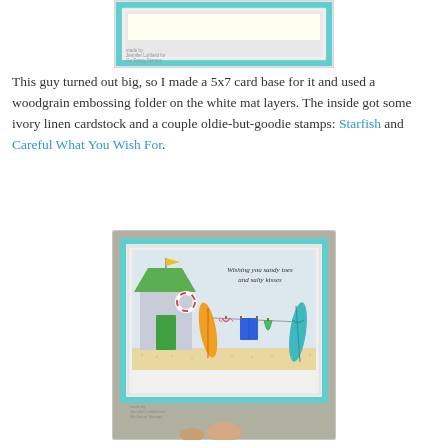[Figure (photo): Top portion of a handmade card with a teal/aqua border and an ivory/cream interior, shown from above. A watermark reads 'made by Jennifer Loftfield for Go Sassy Stamps'.]
This guy turned out big, so I made a 5x7 card base for it and used a woodgrain embossing folder on the white mat layers. The inside got some ivory linen cardstock and a couple oldie-but-goodie stamps: Starfish and Careful What You Wish For.
[Figure (photo): A handmade beach-themed card held in someone's hand. The card has a teal/aqua border with a white/gray woodgrain mat. Inside is a scene with a beach hut (green roof, life preserver ring), two surfboards, a clothesline with swimwear (bikini, shorts, swimsuit), and text reading 'Wishing you sandy toes and salty kisses'. A watermark at the bottom reads 'made by Jennifer Loftfield for Go Sassy Stamps'.]